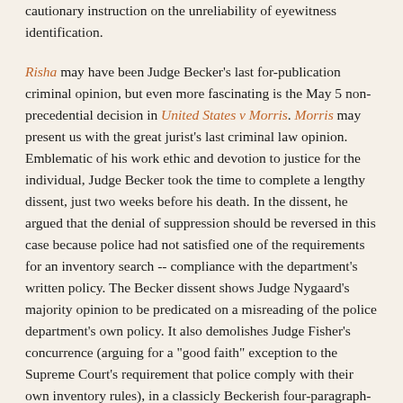cautionary instruction on the unreliability of eyewitness identification.
Risha may have been Judge Becker's last for-publication criminal opinion, but even more fascinating is the May 5 non-precedential decision in United States v Morris. Morris may present us with the great jurist's last criminal law opinion. Emblematic of his work ethic and devotion to justice for the individual, Judge Becker took the time to complete a lengthy dissent, just two weeks before his death. In the dissent, he argued that the denial of suppression should be reversed in this case because police had not satisfied one of the requirements for an inventory search -- compliance with the department's written policy. The Becker dissent shows Judge Nygaard's majority opinion to be predicated on a misreading of the police department's own policy. It also demolishes Judge Fisher's concurrence (arguing for a "good faith" exception to the Supreme Court's requirement that police comply with their own inventory rules), in a classicly Beckerish four-paragraph-long footnote.
The majority in Morris affirms in part on grounds (inevitable discovery and search-incident-to-arrest) that the government never raised in the district court, and on which the record was inadequate and the defense did not have the opportunity to cross-examine. Or